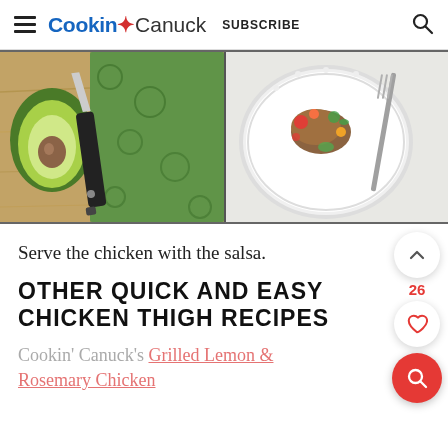Cookin' Canuck  SUBSCRIBE
[Figure (photo): Two-panel photo: left panel shows a halved avocado on a wooden cutting board with a green patterned cloth and a knife; right panel shows a white decorative plate with a colorful chicken salsa dish and ornate silverware on a light surface.]
Serve the chicken with the salsa.
OTHER QUICK AND EASY CHICKEN THIGH RECIPES
Cookin' Canuck's Grilled Lemon & Rosemary Chicken